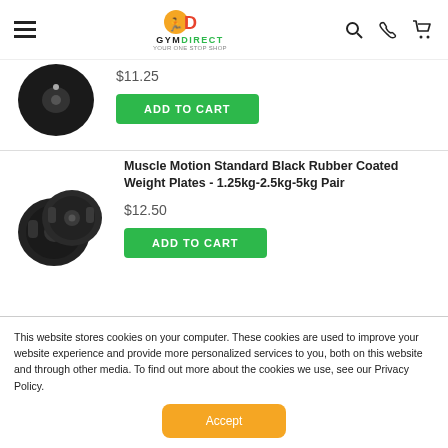GymDirect navigation header with hamburger menu, logo, search, phone, and cart icons
$11.25
ADD TO CART
Muscle Motion Standard Black Rubber Coated Weight Plates - 1.25kg-2.5kg-5kg Pair
$12.50
ADD TO CART
This website stores cookies on your computer. These cookies are used to improve your website experience and provide more personalized services to you, both on this website and through other media. To find out more about the cookies we use, see our Privacy Policy.
Accept